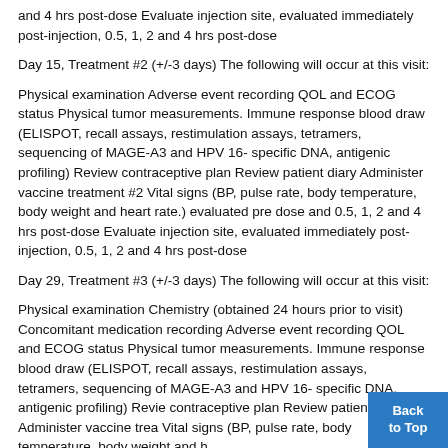and 4 hrs post-dose Evaluate injection site, evaluated immediately post-injection, 0.5, 1, 2 and 4 hrs post-dose
Day 15, Treatment #2 (+/-3 days) The following will occur at this visit:
Physical examination Adverse event recording QOL and ECOG status Physical tumor measurements. Immune response blood draw (ELISPOT, recall assays, restimulation assays, tetramers, sequencing of MAGE-A3 and HPV 16- specific DNA, antigenic profiling) Review contraceptive plan Review patient diary Administer vaccine treatment #2 Vital signs (BP, pulse rate, body temperature, body weight and heart rate.) evaluated pre dose and 0.5, 1, 2 and 4 hrs post-dose Evaluate injection site, evaluated immediately post-injection, 0.5, 1, 2 and 4 hrs post-dose
Day 29, Treatment #3 (+/-3 days) The following will occur at this visit:
Physical examination Chemistry (obtained 24 hours prior to visit) Concomitant medication recording Adverse event recording QOL and ECOG status Physical tumor measurements. Immune response blood draw (ELISPOT, recall assays, restimulation assays, tetramers, sequencing of MAGE-A3 and HPV 16- specific DNA, antigenic profiling) Review contraceptive plan Review patient diary Administer vaccine treatment Vital signs (BP, pulse rate, body temperature, body weight and h